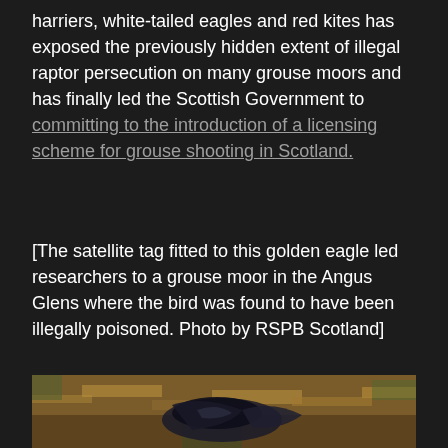harriers, white-tailed eagles and red kites has exposed the previously hidden extent of illegal raptor persecution on many grouse moors and has finally led the Scottish Government to committing to the introduction of a licensing scheme for grouse shooting in Scotland.
[The satellite tag fitted to this golden eagle led researchers to a grouse moor in the Angus Glens where the bird was found to have been illegally poisoned. Photo by RSPB Scotland]
[Figure (photo): A dead or injured golden eagle lying in dry moorland grass, partially covered with a dark plastic bag or wing, photographed on a grouse moor. Photo credit: RSPB Scotland.]